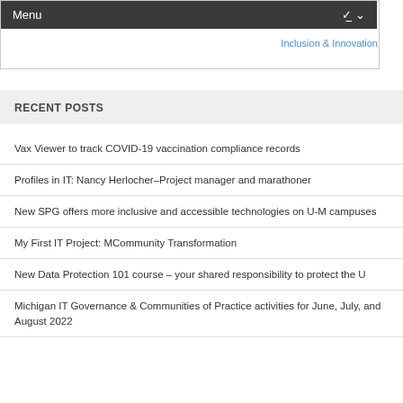Menu
Inclusion & Innovation
RECENT POSTS
Vax Viewer to track COVID-19 vaccination compliance records
Profiles in IT: Nancy Herlocher–Project manager and marathoner
New SPG offers more inclusive and accessible technologies on U-M campuses
My First IT Project: MCommunity Transformation
New Data Protection 101 course – your shared responsibility to protect the U
Michigan IT Governance & Communities of Practice activities for June, July, and August 2022